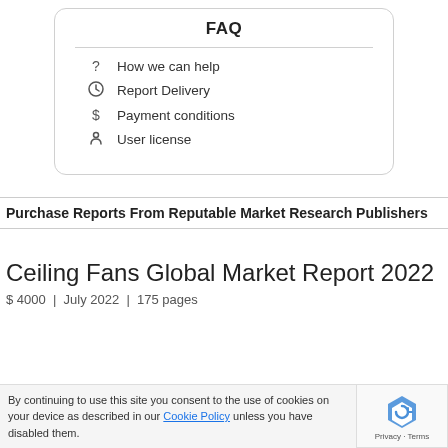FAQ
How we can help
Report Delivery
Payment conditions
User license
Purchase Reports From Reputable Market Research Publishers
Ceiling Fans Global Market Report 2022
$ 4000  |  July 2022  |  175 pages
By continuing to use this site you consent to the use of cookies on your device as described in our Cookie Policy unless you have disabled them.